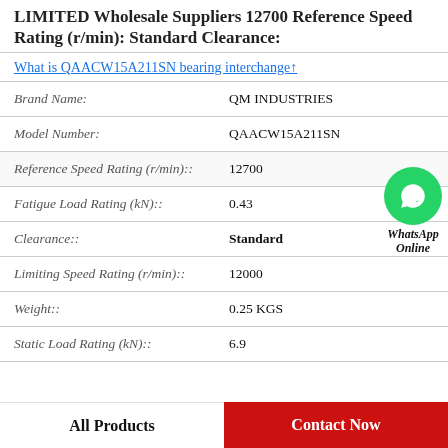LIMITED Wholesale Suppliers 12700 Reference Speed Rating (r/min): Standard Clearance:
What is QAACW15A211SN bearing interchange↑
| Property | Value |
| --- | --- |
| Brand Name: | QM INDUSTRIES |
| Model Number: | QAACW15A211SN |
| Reference Speed Rating (r/min):: | 12700 |
| Fatigue Load Rating (kN):: | 0.43 |
| Clearance:: | Standard |
| Limiting Speed Rating (r/min):: | 12000 |
| Weight:: | 0.25 KGS |
| Static Load Rating (kN):: | 6.9 |
All Products
Contact Now